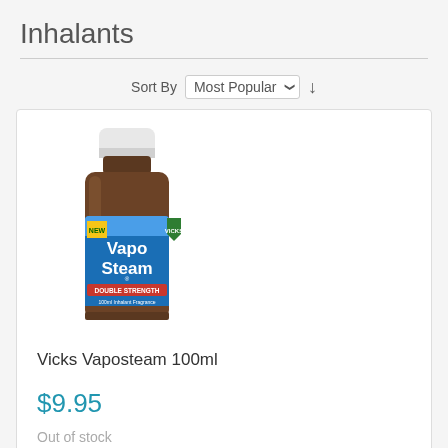Inhalants
Sort By  Most Popular
[Figure (photo): Vicks VapoSteam Double Strength 100ml amber glass bottle with white cap and blue label]
Vicks Vaposteam 100ml
$9.95
Out of stock